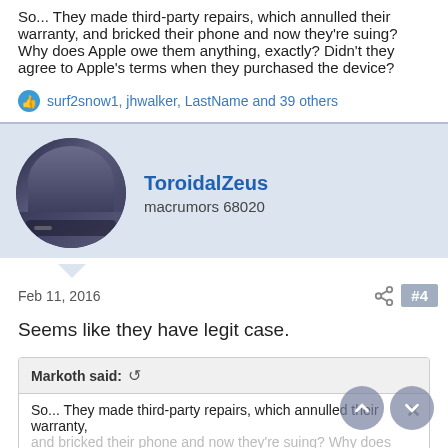So... They made third-party repairs, which annulled their warranty, and bricked their phone and now they're suing? Why does Apple owe them anything, exactly? Didn't they agree to Apple's terms when they purchased the device?
surf2snow1, jhwalker, LastName and 39 others
ToroidalZeus
macrumors 68020
Feb 11, 2016
#4
Seems like they have legit case.
Markoth said:
So... They made third-party repairs, which annulled their warranty, and bricked their phone and now they're suing? Why does Apple owe them anything, exactly? Didn't they agree to Apple's terms when they purchased the device?